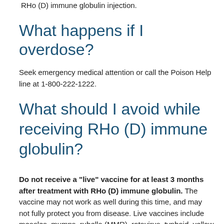RHo (D) immune globulin injection.
What happens if I overdose?
Seek emergency medical attention or call the Poison Help line at 1-800-222-1222.
What should I avoid while receiving RHo (D) immune globulin?
Do not receive a "live" vaccine for at least 3 months after treatment with RHo (D) immune globulin. The vaccine may not work as well during this time, and may not fully protect you from disease. Live vaccines include measles, mumps, rubella (MMR), rotavirus, typhoid, yellow fever, varicella (chickenpox), zoster (shingles), and nasal flu (influenza) vaccine.